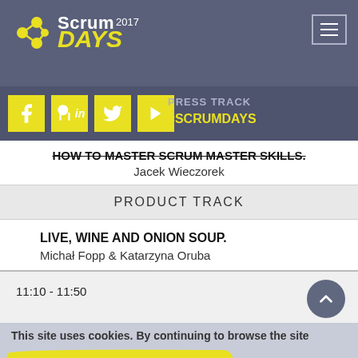[Figure (logo): ScrumDays 2017 logo with yellow icon and yellow DAYS text on purple/grey background]
[Figure (screenshot): Social media icons bar: Facebook, LinkedIn, Twitter, Play button in yellow squares; text PRESS TRACK and #SCRUMDAYS]
HOW TO MASTER SCRUM MASTER SKILLS.
Jacek Wieczorek
PRODUCT TRACK
LIVE, WINE AND ONION SOUP.
Michał Fopp & Katarzyna Oruba
11:10 - 11:50
This site uses cookies. By continuing to browse the site
REGISTER NOW!
of cookies.